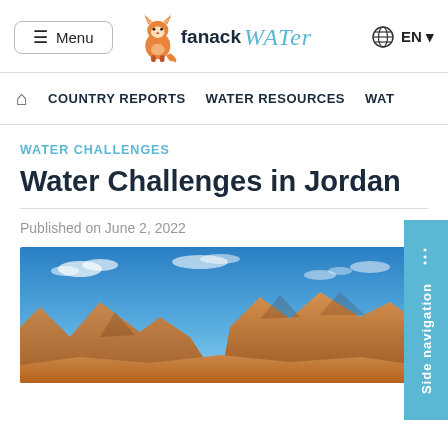Menu | fanack WATER | EN
COUNTRY REPORTS  WATER RESOURCES  WAT
WATER CHALLENGES
Water Challenges in Jordan
Published on June 2, 2022
[Figure (photo): Desert landscape photo showing orange/red rocky mountains and sandy terrain under a blue sky with white clouds — likely Wadi Rum, Jordan]